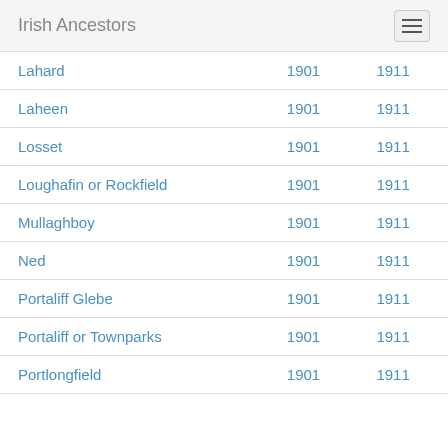Irish Ancestors
|  | 1901 | 1911 |
| --- | --- | --- |
| Lahard | 1901 | 1911 |
| Laheen | 1901 | 1911 |
| Losset | 1901 | 1911 |
| Loughafin or Rockfield | 1901 | 1911 |
| Mullaghboy | 1901 | 1911 |
| Ned | 1901 | 1911 |
| Portaliff Glebe | 1901 | 1911 |
| Portaliff or Townparks | 1901 | 1911 |
| Portlongfield | 1901 | 1911 |